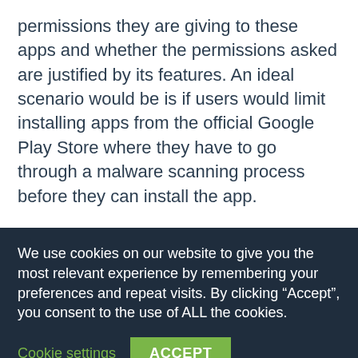permissions they are giving to these apps and whether the permissions asked are justified by its features. An ideal scenario would be is if users would limit installing apps from the official Google Play Store where they have to go through a malware scanning process before they can install the app.
Google has released its annual Android Security Report which reveals that it still scans over 50 billion apps each day with the goal of finding malicious
We use cookies on our website to give you the most relevant experience by remembering your preferences and repeat visits. By clicking “Accept”, you consent to the use of ALL the cookies.
Cookie settings  ACCEPT